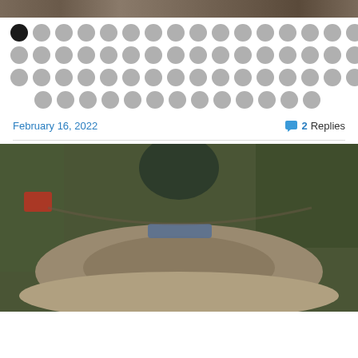[Figure (photo): Top portion of an outdoor photo showing legs/feet on a forest trail, cropped at top of page]
[Figure (infographic): Pagination dots: first dot is black (selected), remaining dots are gray across 4 rows]
February 16, 2022
2 Replies
[Figure (photo): Outdoor photo showing feet stepping on a log on a muddy dirt pump track or trail in a forest, taken from a low angle with fisheye effect. A red vehicle is visible in the background left, trees line the path.]